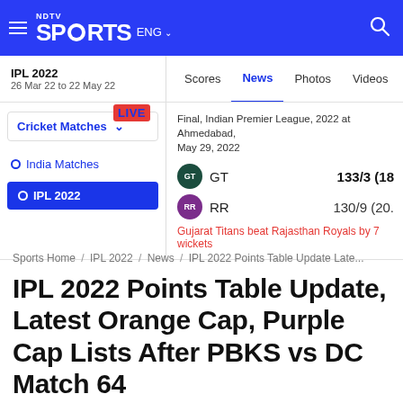NDTV Sports ENG
IPL 2022 | 26 Mar 22 to 22 May 22 | Scores | News | Photos | Videos | Au
Cricket Matches LIVE | India Matches | IPL 2022
Final, Indian Premier League, 2022 at Ahmedabad, May 29, 2022
GT 133/3 (18
RR 130/9 (20.
Gujarat Titans beat Rajasthan Royals by 7 wickets
Sports Home / IPL 2022 / News / IPL 2022 Points Table Update Late...
IPL 2022 Points Table Update, Latest Orange Cap, Purple Cap Lists After PBKS vs DC Match 64